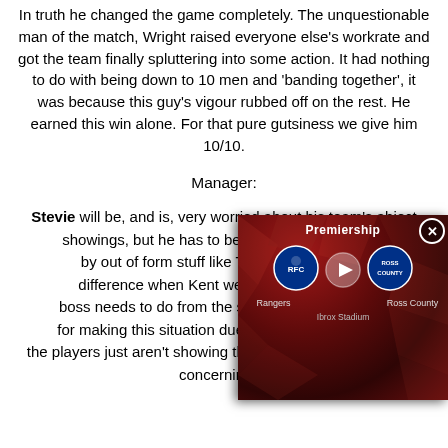In truth he changed the game completely. The unquestionable man of the match, Wright raised everyone else's workrate and got the team finally spluttering into some action. It had nothing to do with being down to 10 men and 'banding together', it was because this guy's vigour rubbed off on the rest. He earned this win alone. For that pure gutsiness we give him 10/10.
Manager:
Stevie will be, and is, very worried about his team's abject showings, but he has to bear so... by out of form stuff like Taver... difference when Kent went off, a... boss needs to do from the start... for making this situation due to... the players just aren't showing the will and guts enough. It's concerning. 5
[Figure (screenshot): Video overlay showing a Premiership match between Rangers and Ross County at Ibrox Stadium, with play button in the center and team logos on either side. Close button (X) in top right corner.]